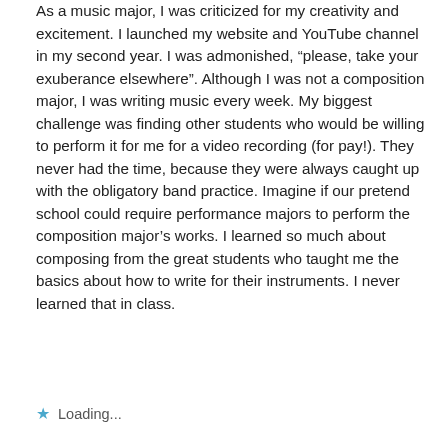As a music major, I was criticized for my creativity and excitement. I launched my website and YouTube channel in my second year. I was admonished, “please, take your exuberance elsewhere”. Although I was not a composition major, I was writing music every week. My biggest challenge was finding other students who would be willing to perform it for me for a video recording (for pay!). They never had the time, because they were always caught up with the obligatory band practice. Imagine if our pretend school could require performance majors to perform the composition major’s works. I learned so much about composing from the great students who taught me the basics about how to write for their instruments. I never learned that in class.
Loading...